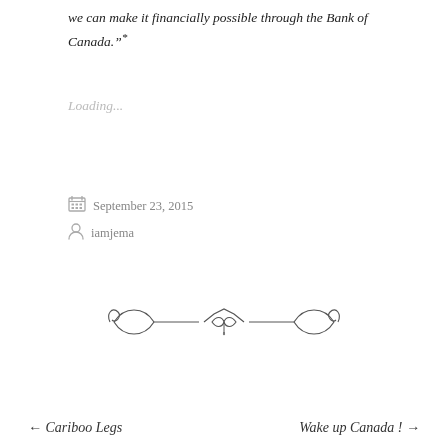we can make it financially possible through the Bank of Canada."*
Loading...
September 23, 2015
iamjema
[Figure (illustration): Decorative ornamental divider with scrollwork and bow-tie flourish]
← Cariboo Legs     Wake up Canada ! →